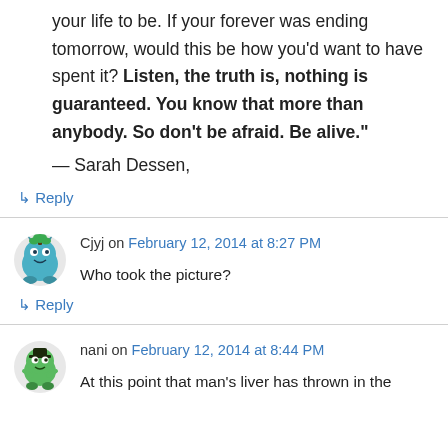your life to be. If your forever was ending tomorrow, would this be how you'd want to have spent it? Listen, the truth is, nothing is guaranteed. You know that more than anybody. So don't be afraid. Be alive."
— Sarah Dessen,
↳ Reply
Cjyj on February 12, 2014 at 8:27 PM
Who took the picture?
↳ Reply
nani on February 12, 2014 at 8:44 PM
At this point that man's liver has thrown in the